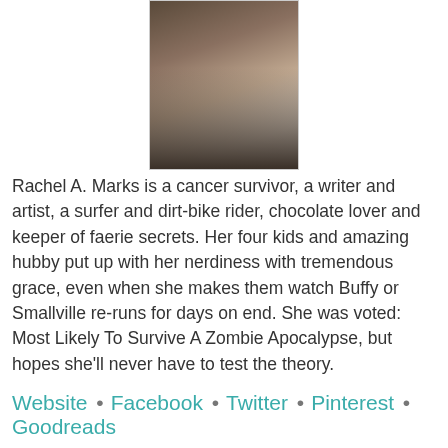[Figure (photo): Author photo of Rachel A. Marks, two people shown from waist down, one in dark clothing, one in light jacket with star pattern]
Rachel A. Marks is a cancer survivor, a writer and artist, a surfer and dirt-bike rider, chocolate lover and keeper of faerie secrets. Her four kids and amazing hubby put up with her nerdiness with tremendous grace, even when she makes them watch Buffy or Smallville re-runs for days on end. She was voted: Most Likely To Survive A Zombie Apocalypse, but hopes she'll never have to test the theory.
Website • Facebook • Twitter • Pinterest • Goodreads
Also by Rachel A. Marks:
Winter Rose
Free on Amazon for a limited time